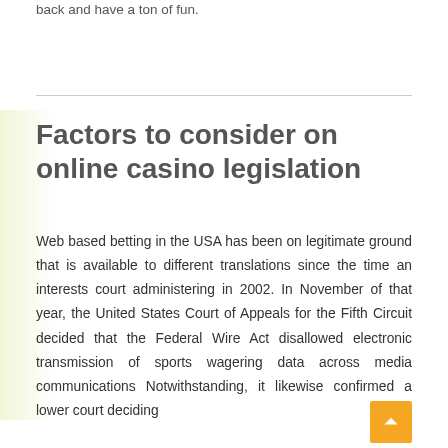back and have a ton of fun.
Factors to consider on online casino legislation
Web based betting in the USA has been on legitimate ground that is available to different translations since the time an interests court administering in 2002. In November of that year, the United States Court of Appeals for the Fifth Circuit decided that the Federal Wire Act disallowed electronic transmission of sports wagering data across media communications Notwithstanding, it likewise confirmed a lower court deciding